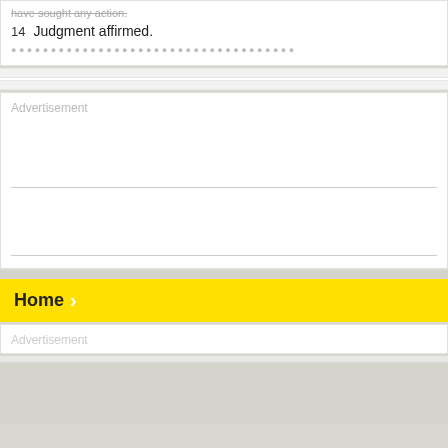have sought any action.
14  Judgment affirmed.
Advertisement
Home
Advertisement